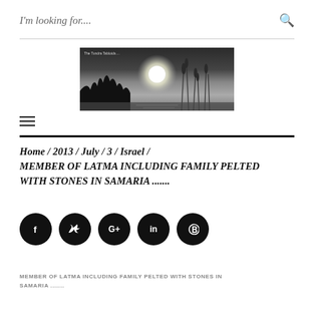I'm looking for....
[Figure (photo): Banner image of a sunset or moonrise over a lake with silhouetted trees and tall grasses, with text 'The Tundra Tabloids....']
Home / 2013 / July / 3 / Israel / MEMBER OF LATMA INCLUDING FAMILY PELTED WITH STONES IN SAMARIA .......
[Figure (infographic): Row of five black circular social media share buttons: Facebook (f), Twitter (bird), Google+ (G+), LinkedIn (in), Pinterest (p)]
MEMBER OF LATMA INCLUDING FAMILY PELTED WITH STONES IN SAMARIA .......